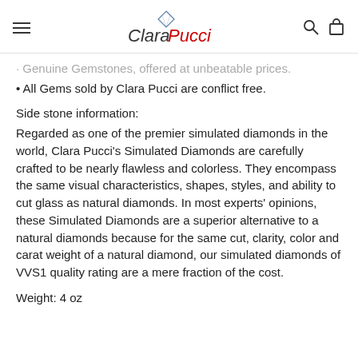Clara Pucci
· Genuine Gemstones, offered at unbeatable prices.
• All Gems sold by Clara Pucci are conflict free.
Side stone information:
Regarded as one of the premier simulated diamonds in the world, Clara Pucci's Simulated Diamonds are carefully crafted to be nearly flawless and colorless. They encompass the same visual characteristics, shapes, styles, and ability to cut glass as natural diamonds. In most experts' opinions, these Simulated Diamonds are a superior alternative to a natural diamonds because for the same cut, clarity, color and carat weight of a natural diamond, our simulated diamonds of VVS1 quality rating are a mere fraction of the cost.
Weight: 4 oz